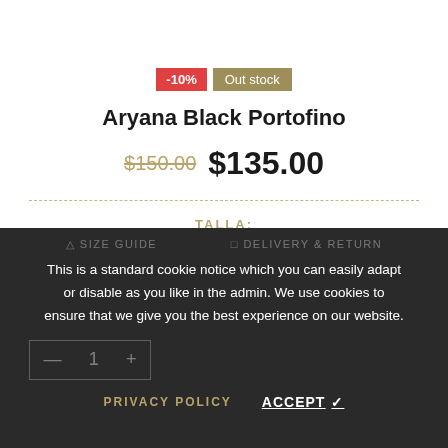-10%  Out stock
Aryana Black Portofino
$150.00  $135.00
TALLA:
This is a standard cookie notice which you can easily adapt or disable as you like in the admin. We use cookies to ensure that we give you the best experience on our website.
PRIVACY POLICY   ACCEPT ✓